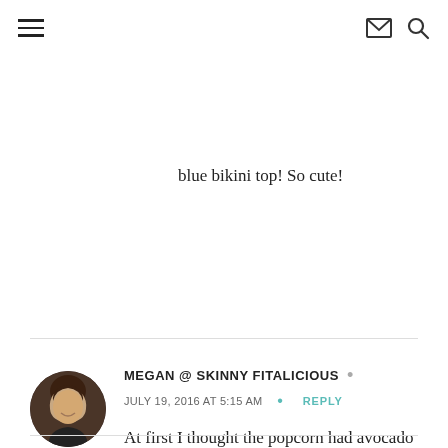Navigation header with hamburger menu, email icon, and search icon
blue bikini top! So cute!
MEGAN @ SKINNY FITALICIOUS • JULY 19, 2016 AT 5:15 AM • REPLY
At first I thought the popcorn had avocado on it. That wouldn't be a bad addition though!!!